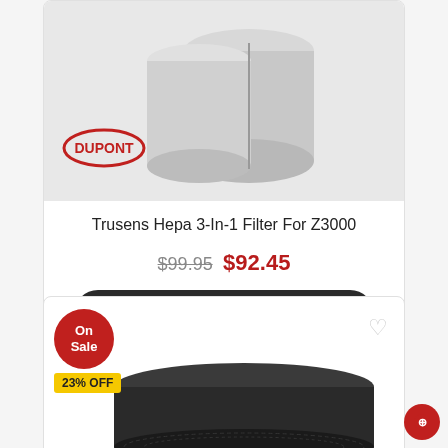[Figure (photo): Product image of Trusens Hepa 3-In-1 Filter for Z3000 showing cylindrical white/gray filter with DuPont logo]
Trusens Hepa 3-In-1 Filter For Z3000
$99.95 $92.45
Add to Cart
[Figure (photo): Product image of second filter (dark/charcoal colored circular filter) with On Sale badge showing 23% OFF and a heart wishlist icon]